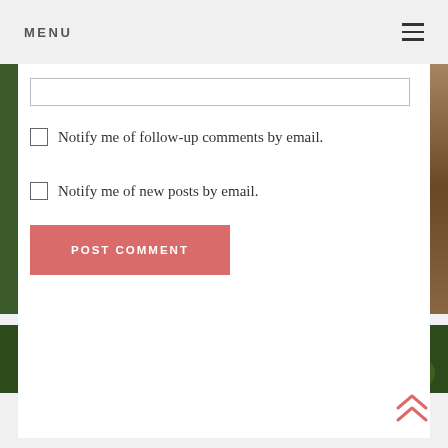MENU
[Figure (screenshot): Website comment form with checkbox options and post comment button, with floral background photo]
Notify me of follow-up comments by email.
Notify me of new posts by email.
POST COMMENT